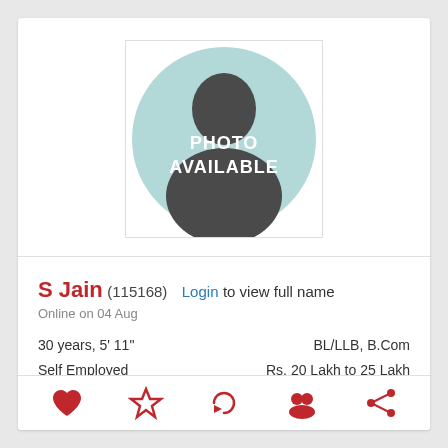[Figure (photo): Placeholder profile photo with silhouette on teal/mint circle background, text 'PHOTO AVAILABLE' in white]
S Jain (115168) Login to view full name
Online on 04 Aug
30 years, 5' 11"
Self Employed
Male, Unmarried
Above Middle Class
BL/LLB, B.Com
Rs. 20 Lakh to 25 Lakh
Nahata Gotra
In Delhi (From Noida)
[Figure (illustration): Bottom icon row with heart, star, undo/history, chat/people, and share icons in red/crimson color]